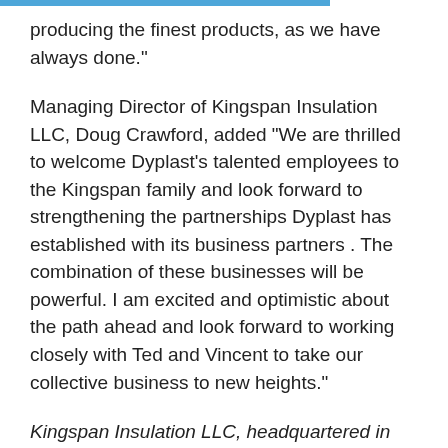producing the finest products, as we have always done."
Managing Director of Kingspan Insulation LLC, Doug Crawford, added "We are thrilled to welcome Dyplast's talented employees to the Kingspan family and look forward to strengthening the partnerships Dyplast has established with its business partners . The combination of these businesses will be powerful. I am excited and optimistic about the path ahead and look forward to working closely with Ted and Vincent to take our collective business to new heights."
Kingspan Insulation LLC, headquartered in Atlanta, GA, is a leading manufacturer in energy efficiency and moisture management products, offering high-performance insulation, building wraps and pre-insulated HVAC ductwork. Kingspan Insulation LLC is part of the Kingspan Group plc., one of Europe's leading construction product manufacturers. The